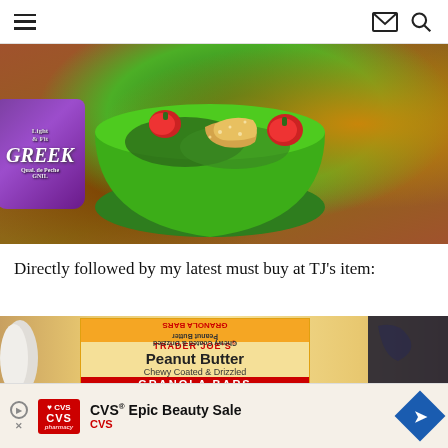navigation header with hamburger menu, mail icon, search icon
[Figure (photo): Photo of a green bowl containing a salad with strawberries, chicken, and toppings, next to a Light & Fit Greek yogurt cup on a wooden surface]
Directly followed by my latest must buy at TJ’s item:
[Figure (photo): Photo of Trader Joe’s Peanut Butter Chewy Coated & Drizzled Granola Bars box in orange and yellow packaging]
[Figure (screenshot): Advertisement banner: CVS Epic Beauty Sale, CVS pharmacy logo, with blue diamond arrow button]